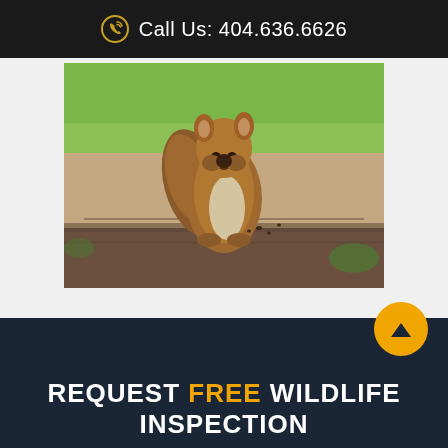Call Us: 404.636.6626
[Figure (photo): A squirrel sitting upright on a wooden log, holding food in its front paws, with green grass blurred in the background]
REQUEST FREE WILDLIFE INSPECTION
[Figure (other): Orange circular scroll-to-top button with an upward triangle arrow]